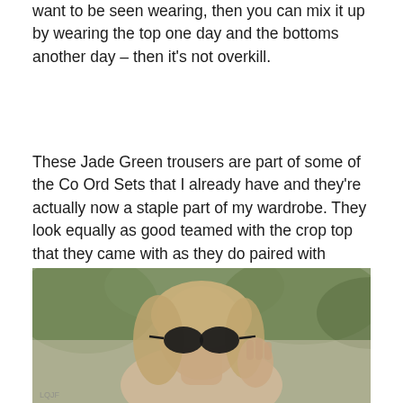want to be seen wearing, then you can mix it up by wearing the top one day and the bottoms another day – then it's not overkill.
These Jade Green trousers are part of some of the Co Ord Sets that I already have and they're actually now a staple part of my wardrobe. They look equally as good teamed with the crop top that they came with as they do paired with something else entirely.
[Figure (photo): A blonde woman wearing black sunglasses, photographed outdoors with blurred green trees in the background. She appears to be adjusting her sunglasses with one hand.]